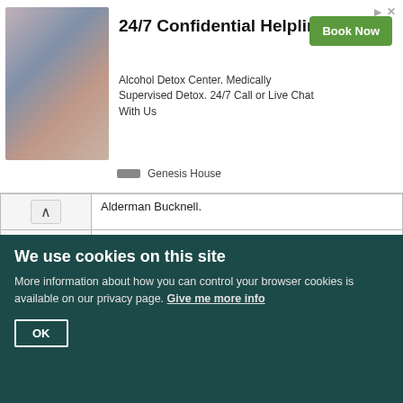[Figure (photo): Advertisement banner: group of hands joined together photo on left, '24/7 Confidential Helpline' heading, 'Alcohol Detox Center. Medically Supervised Detox. 24/7 Call or Live Chat With Us' description, 'Book Now' green button, 'Genesis House' brand name]
Alderman Bucknell.
Sir W. Doyly gives an account of his proceedings in Kent for getting in the arrears of that county. John Short of Ickham, Edward Rose, junr., of Chislett and Robert Gilbert to be sent for in custody to account; and to pay 12 per cent. [for moneys detained in their hands as collectors, &c.]. Mr. Edw. Woodford of Ashford and the rest that the Commissioners [of the Aids for Kent] certified against are to be also sent for in custody to account, and also John Bing and John Crake. Mr. Robinson and Mr. Eeds and Mr. Crosse and the rest in the paper to be sent for in custody.
Process to stay against Mr. Newsham as Receiver of
We use cookies on this site
More information about how you can control your browser cookies is available on our privacy page. Give me more info